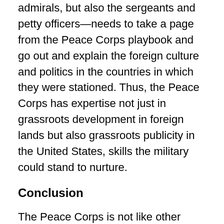admirals, but also the sergeants and petty officers—needs to take a page from the Peace Corps playbook and go out and explain the foreign culture and politics in the countries in which they were stationed. Thus, the Peace Corps has expertise not just in grassroots development in foreign lands but also grassroots publicity in the United States, skills the military could stand to nurture.
Conclusion
The Peace Corps is not like other foreign aid. It is American people who, living among host country nationals, teach about American culture while learning up-close about a foreign one. The village children learn English while the volunteer learns their language, the village adults learn soil conservation techniques while the volunteer learns their customs, and so on.
The intention is not to turn the Armed Forces into the Peace Corps. They are two separate organizations with very different missions. If the objective is to clear and hold